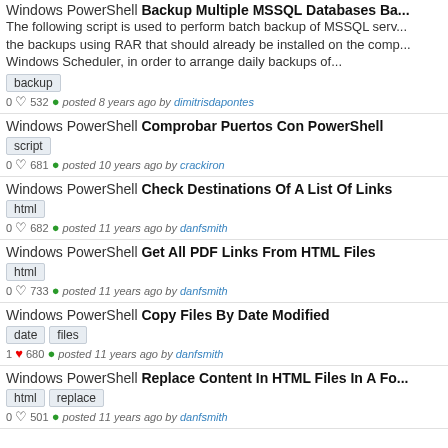Windows PowerShell Backup Multiple MSSQL Databases Ba...
The following script is used to perform batch backup of MSSQL serv... the backups using RAR that should already be installed on the comp... Windows Scheduler, in order to arrange daily backups of...
backup
0 ♡ 532 👁 posted 8 years ago by dimitrisdapontes
Windows PowerShell Comprobar Puertos Con PowerShell
script
0 ♡ 681 👁 posted 10 years ago by crackiron
Windows PowerShell Check Destinations Of A List Of Links
html
0 ♡ 682 👁 posted 11 years ago by danfsmith
Windows PowerShell Get All PDF Links From HTML Files
html
0 ♡ 733 👁 posted 11 years ago by danfsmith
Windows PowerShell Copy Files By Date Modified
date  files
1 ♥ 680 👁 posted 11 years ago by danfsmith
Windows PowerShell Replace Content In HTML Files In A Fo...
html  replace
0 ♡ 501 👁 posted 11 years ago by danfsmith